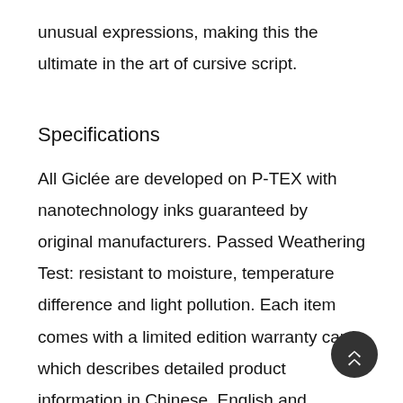unusual expressions, making this the ultimate in the art of cursive script.
Specifications
All Giclée are developed on P-TEX with nanotechnology inks guaranteed by original manufacturers. Passed Weathering Test: resistant to moisture, temperature difference and light pollution. Each item comes with a limited edition warranty card which describes detailed product information in Chinese, English and Japanese. Customers of different countries can better understand the features and introduction of the products. Each item comes with National Palace Museum's